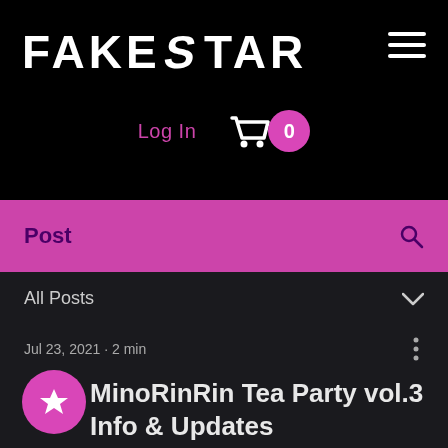[Figure (screenshot): FAKE STAR website header with logo, hamburger menu, Login link, and shopping cart with badge showing 0]
FAKE STAR
Log In
0
Post
All Posts
Jul 23, 2021 · 2 min
MinoRinRin Tea Party vol.3 Info & Updates